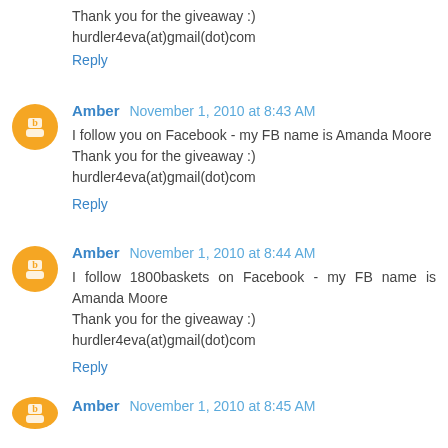Thank you for the giveaway :)
hurdler4eva(at)gmail(dot)com
Reply
Amber  November 1, 2010 at 8:43 AM
I follow you on Facebook - my FB name is Amanda Moore
Thank you for the giveaway :)
hurdler4eva(at)gmail(dot)com
Reply
Amber  November 1, 2010 at 8:44 AM
I follow 1800baskets on Facebook - my FB name is Amanda Moore
Thank you for the giveaway :)
hurdler4eva(at)gmail(dot)com
Reply
Amber  November 1, 2010 at 8:45 AM